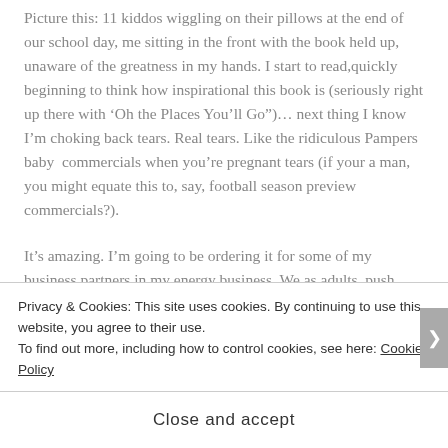Picture this: 11 kiddos wiggling on their pillows at the end of our school day, me sitting in the front with the book held up, unaware of the greatness in my hands. I start to read,quickly beginning to think how inspirational this book is (seriously right up there with ‘Oh the Places You’ll Go”)… next thing I know I’m choking back tears. Real tears. Like the ridiculous Pampers baby  commercials when you’re pregnant tears (if your a man, you might equate this to, say, football season preview commercials?).
It’s amazing. I’m going to be ordering it for some of my business partners in my energy business. We,as adults, push aside dreaming, often to fit into the mold of the
Privacy & Cookies: This site uses cookies. By continuing to use this website, you agree to their use.
To find out more, including how to control cookies, see here: Cookie Policy
Close and accept